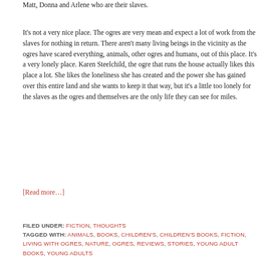Matt, Donna and Arlene who are their slaves.
It's not a very nice place. The ogres are very mean and expect a lot of work from the slaves for nothing in return. There aren't many living beings in the vicinity as the ogres have scared everything, animals, other ogres and humans, out of this place. It's a very lonely place. Karen Steelchild, the ogre that runs the house actually likes this place a lot. She likes the loneliness she has created and the power she has gained over this entire land and she wants to keep it that way, but it's a little too lonely for the slaves as the ogres and themselves are the only life they can see for miles.
[Read more…]
FILED UNDER: FICTION, THOUGHTS
TAGGED WITH: ANIMALS, BOOKS, CHILDREN'S, CHILDREN'S BOOKS, FICTION, LIVING WITH OGRES, NATURE, OGRES, REVIEWS, STORIES, YOUNG ADULT BOOKS, YOUNG ADULTS